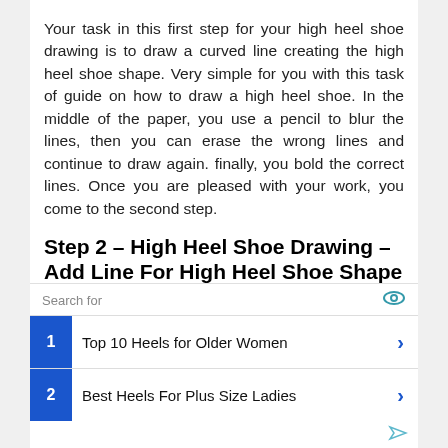Your task in this first step for your high heel shoe drawing is to draw a curved line creating the high heel shoe shape. Very simple for you with this task of guide on how to draw a high heel shoe. In the middle of the paper, you use a pencil to blur the lines, then you can erase the wrong lines and continue to draw again. finally, you bold the correct lines. Once you are pleased with your work, you come to the second step.
Step 2 – High Heel Shoe Drawing – Add Line For High Heel Shoe Shape Outline
[Figure (other): Advertisement block with 'Search for' header and two sponsored results: 1. Top 10 Heels for Older Women, 2. Best Heels For Plus Size Ladies]